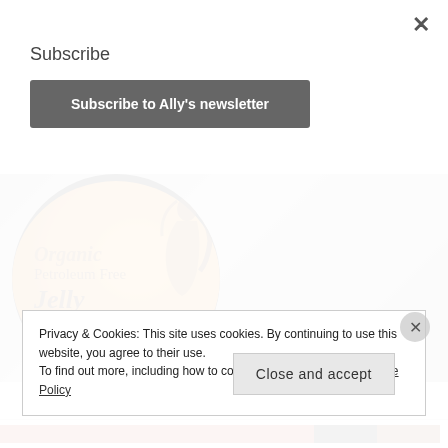Subscribe
Subscribe to Ally's newsletter
[Figure (photo): Product photo of a jar of Organic Petroleum Free Jelly with an orange label featuring an illustration of a woman with long dark hair, placed on a gray textured surface]
Privacy & Cookies: This site uses cookies. By continuing to use this website, you agree to their use.
To find out more, including how to control cookies, see here: Cookie Policy
Close and accept